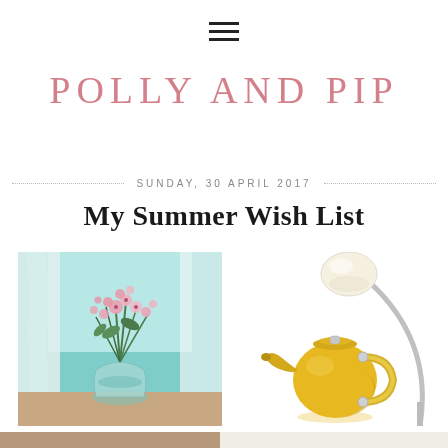[Figure (other): Hamburger menu icon — three horizontal lines]
POLLY AND PIP
SUNDAY, 30 APRIL 2017
My Summer Wish List
[Figure (illustration): Painting of pink flowers in a clear glass vase on a windowsill with teal/turquoise background and white curtains]
[Figure (illustration): Yellow stovetop kettle and an arc floor lamp with a white globe shade on a white background]